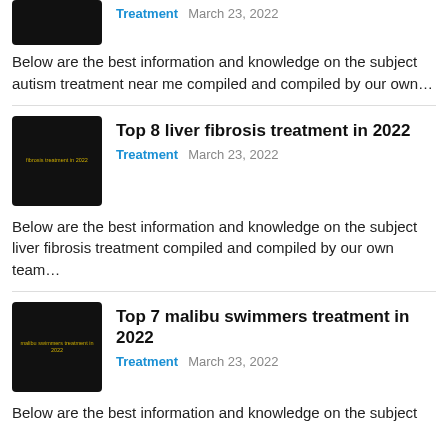[Figure (photo): Dark thumbnail image for autism treatment article, partially visible at top]
Treatment   March 23, 2022
Below are the best information and knowledge on the subject autism treatment near me compiled and compiled by our own…
[Figure (photo): Dark thumbnail image with yellow text reading 'fibrosis treatment in 2022']
Top 8 liver fibrosis treatment in 2022
Treatment   March 23, 2022
Below are the best information and knowledge on the subject liver fibrosis treatment compiled and compiled by our own team…
[Figure (photo): Dark thumbnail image with yellow text reading 'malibu swimmers treatment in 2022']
Top 7 malibu swimmers treatment in 2022
Treatment   March 23, 2022
Below are the best information and knowledge on the subject